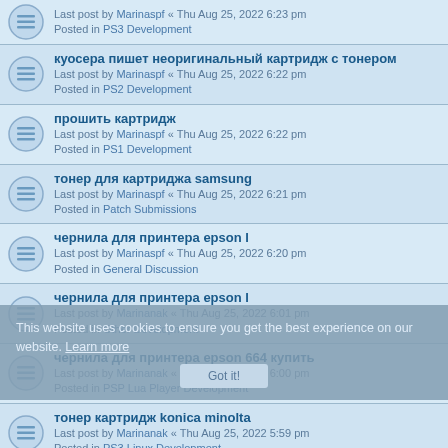Last post by Marinaspf « Thu Aug 25, 2022 6:23 pm
Posted in PS3 Development
куосера пишет неоригинальный картридж с тонером
Last post by Marinaspf « Thu Aug 25, 2022 6:22 pm
Posted in PS2 Development
прошить картридж
Last post by Marinaspf « Thu Aug 25, 2022 6:22 pm
Posted in PS1 Development
тонер для картриджа samsung
Last post by Marinaspf « Thu Aug 25, 2022 6:21 pm
Posted in Patch Submissions
чернила для принтера epson l
Last post by Marinaspf « Thu Aug 25, 2022 6:20 pm
Posted in General Discussion
чернила для принтера epson l
Last post by Marinanak « Thu Aug 25, 2022 6:01 pm
Posted in Other Development
чернила для принтера epson 664 купить
Last post by Marinanak « Thu Aug 25, 2022 6:00 pm
Posted in PSP Lua Player Development
тонер картридж konica minolta
Last post by Marinanak « Thu Aug 25, 2022 5:59 pm
Posted in PS3 Linux Development
термопленка для принтера hp
Last post by Marinanak « Thu Aug 25, 2022 5:59 pm
Posted in PS3 Development
This website uses cookies to ensure you get the best experience on our website. Learn more
Got it!